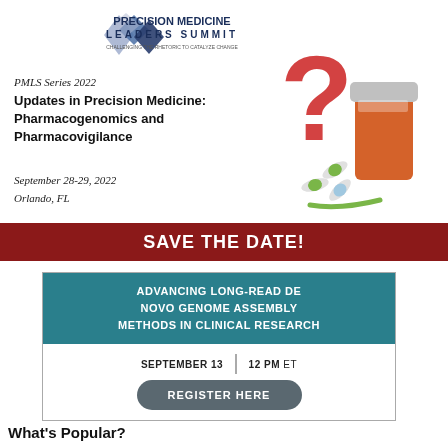[Figure (logo): Precision Medicine Leaders Summit logo with diamond shapes and tagline 'Challenging the Rhetoric to Catalyze Change']
PMLS Series 2022
Updates in Precision Medicine: Pharmacogenomics and Pharmacovigilance
September 28-29, 2022
Orlando, FL
[Figure (photo): Photo of a red question mark, orange pill bottle with capsules spilling out, and green tape measure]
SAVE THE DATE!
ADVANCING LONG-READ DE NOVO GENOME ASSEMBLY METHODS IN CLINICAL RESEARCH
SEPTEMBER 13 | 12 PM ET
REGISTER HERE
What's Popular?